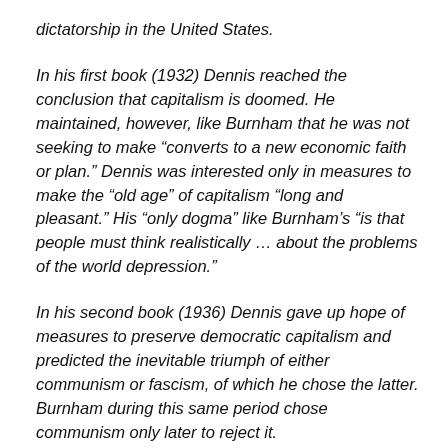dictatorship in the United States.
In his first book (1932) Dennis reached the conclusion that capitalism is doomed. He maintained, however, like Burnham that he was not seeking to make “converts to a new economic faith or plan.” Dennis was interested only in measures to make the “old age” of capitalism “long and pleasant.” His “only dogma” like Burnham’s “is that people must think realistically … about the problems of the world depression.”
In his second book (1936) Dennis gave up hope of measures to preserve democratic capitalism and predicted the inevitable triumph of either communism or fascism, of which he chose the latter. Burnham during this same period chose communism only later to reject it.